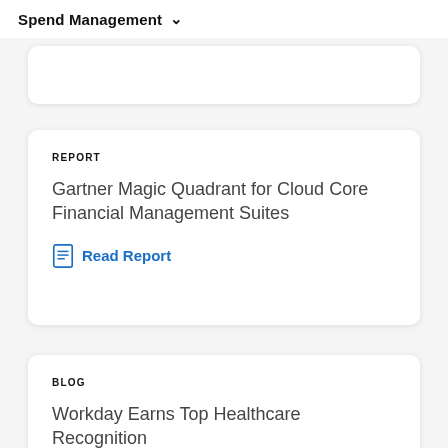Spend Management
REPORT
Gartner Magic Quadrant for Cloud Core Financial Management Suites
Read Report
BLOG
Workday Earns Top Healthcare Recognition